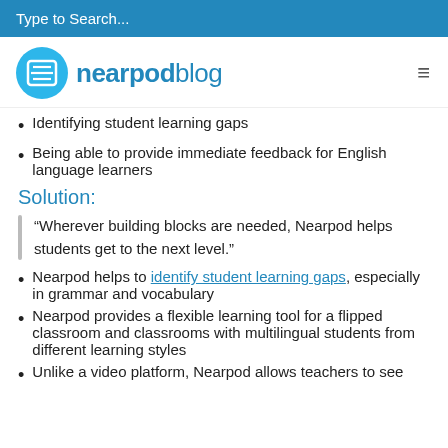Type to Search...
[Figure (logo): Nearpod blog logo with circular blue icon and text 'nearpodblog']
Identifying student learning gaps
Being able to provide immediate feedback for English language learners
Solution:
“Wherever building blocks are needed, Nearpod helps students get to the next level.”
Nearpod helps to identify student learning gaps, especially in grammar and vocabulary
Nearpod provides a flexible learning tool for a flipped classroom and classrooms with multilingual students from different learning styles
Unlike a video platform, Nearpod allows teachers to see